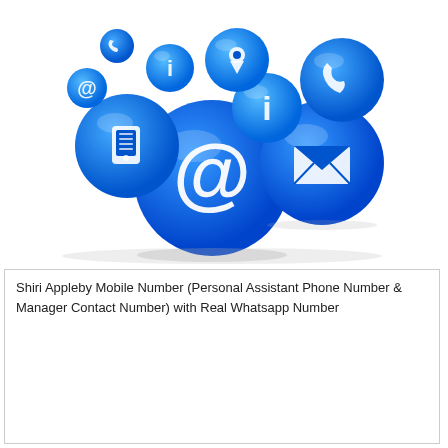[Figure (illustration): A cluster of shiny blue spherical balls each with white contact-related icons: @ symbol (email), mobile phone, map pin, information symbol, telephone handset, envelope/mail, and smaller balls with phone and info icons. Decorative contact-us imagery.]
Shiri Appleby Mobile Number (Personal Assistant Phone Number & Manager Contact Number) with Real Whatsapp Number